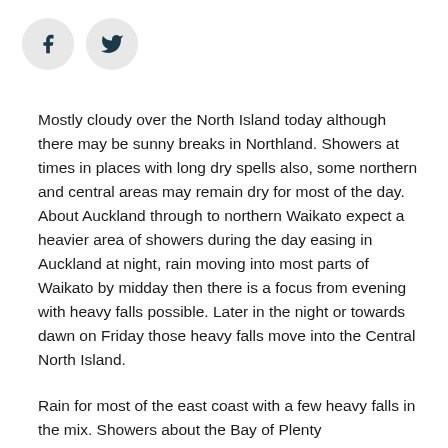[Figure (logo): Facebook and Twitter social media share icons — two circular grey buttons with 'f' and bird logo respectively]
Mostly cloudy over the North Island today although there may be sunny breaks in Northland. Showers at times in places with long dry spells also, some northern and central areas may remain dry for most of the day. About Auckland through to northern Waikato expect a heavier area of showers during the day easing in Auckland at night, rain moving into most parts of Waikato by midday then there is a focus from evening with heavy falls possible. Later in the night or towards dawn on Friday those heavy falls move into the Central North Island.
Rain for most of the east coast with a few heavy falls in the mix. Showers about the Bay of Plenty